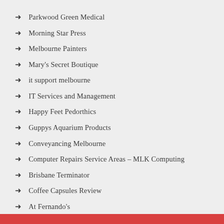Parkwood Green Medical
Morning Star Press
Melbourne Painters
Mary's Secret Boutique
it support melbourne
IT Services and Management
Happy Feet Pedorthics
Guppys Aquarium Products
Conveyancing Melbourne
Computer Repairs Service Areas – MLK Computing
Brisbane Terminator
Coffee Capsules Review
At Fernando's